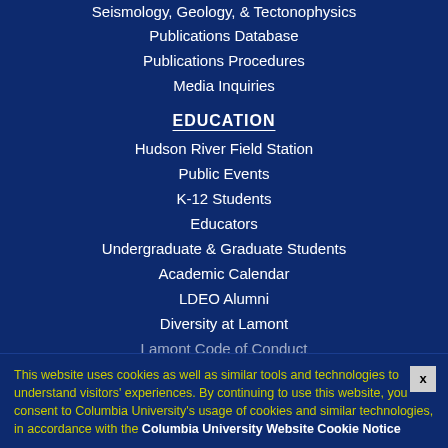Seismology, Geology, & Tectonophysics
Publications Database
Publications Procedures
Media Inquiries
EDUCATION
Hudson River Field Station
Public Events
K-12 Students
Educators
Undergraduate & Graduate Students
Academic Calendar
LDEO Alumni
Diversity at Lamont
Lamont Code of Conduct
Ways to Give
This website uses cookies as well as similar tools and technologies to understand visitors' experiences. By continuing to use this website, you consent to Columbia University's usage of cookies and similar technologies, in accordance with the Columbia University Website Cookie Notice